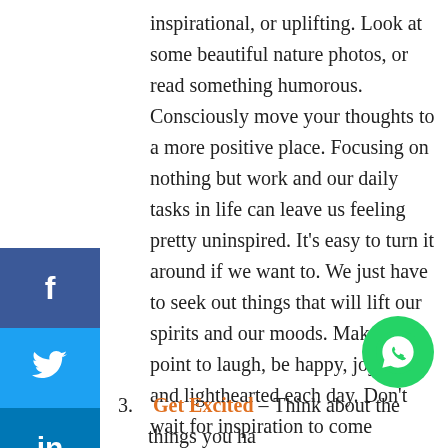inspirational, or uplifting. Look at some beautiful nature photos, or read something humorous. Consciously move your thoughts to a more positive place. Focusing on nothing but work and our daily tasks in life can leave us feeling pretty uninspired. It's easy to turn it around if we want to. We just have to seek out things that will lift our spirits and our moods. Make it a point to laugh, be happy, joyful, and lighthearted each day. Don't wait for inspiration to come knocking on your door, go out and find it, or create it. Conjure up some funny or touching memories. Write them in a journal so you can go back and read them when you're feeling down.
3. Get Excited – Think about the things you have planned for the day, and rekindle the enthusiasm...